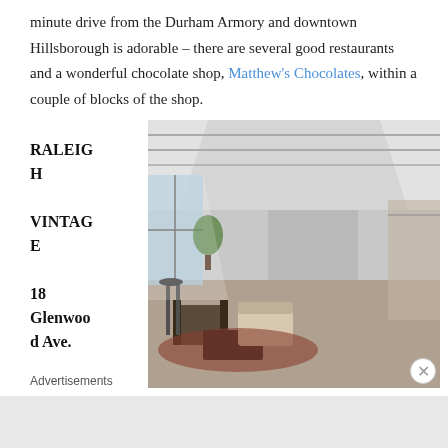minute drive from the Durham Armory and downtown Hillsborough is adorable – there are several good restaurants and a wonderful chocolate shop, Matthew's Chocolates, within a couple of blocks of the shop.
RALEIGH VINTAGE 18 Glenwood Ave.
[Figure (photo): Interior of a vintage shop showing a long open space with white ceilings, exposed pipes, large windows on the left letting in natural light, plants, vintage furniture including chairs and a coffee table in the foreground, clothing racks along the walls, and rugs on the floor.]
Advertisements